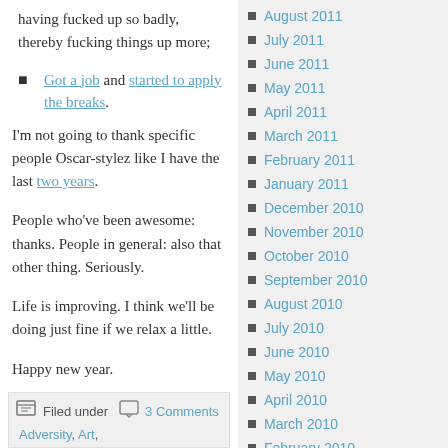having fucked up so badly, thereby fucking things up more;
Got a job and started to apply the breaks.
I'm not going to thank specific people Oscar-stylez like I have the last two years.
People who've been awesome: thanks. People in general: also that other thing. Seriously.
Life is improving. I think we'll be doing just fine if we relax a little.
Happy new year.
Filed under | 3 Comments | Adversity, Art,
August 2011
July 2011
June 2011
May 2011
April 2011
March 2011
February 2011
January 2011
December 2010
November 2010
October 2010
September 2010
August 2010
July 2010
June 2010
May 2010
April 2010
March 2010
February 2010